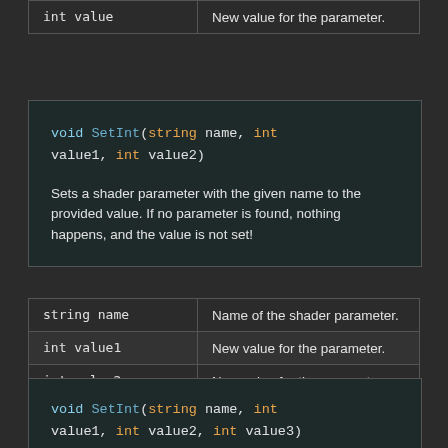| Parameter | Description |
| --- | --- |
| int value | New value for the parameter. |
[Figure (other): Code block showing: void SetInt(string name, int value1, int value2). Sets a shader parameter with the given name to the provided value. If no parameter is found, nothing happens, and the value is not set!]
| Parameter | Description |
| --- | --- |
| string name | Name of the shader parameter. |
| int value1 | New value for the parameter. |
| int value2 | New value for the parameter. |
[Figure (other): Code block showing: void SetInt(string name, int value1, int value2, int value3)]